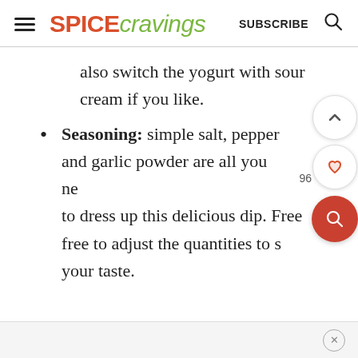SPICEcravings SUBSCRIBE
also switch the yogurt with sour cream if you like.
Seasoning: simple salt, pepper and garlic power are all you need to dress up this delicious dip. Feel free to adjust the quantities to suit your taste.